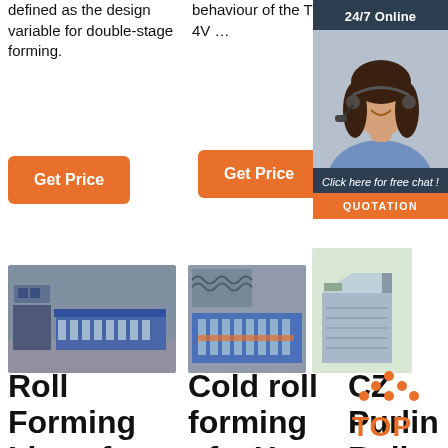defined as the design variable for double-stage forming.
behaviour of the Ti–6Al–4V …
[Figure (other): 24/7 Online chat support sidebar with a woman wearing a headset, 'Click here for free chat!' text, and a QUOTATION button]
Get Price
Get Price
[Figure (photo): Roll forming machine production line with blue industrial machinery]
[Figure (photo): Cold roll forming machinery equipment]
[Figure (photo): CZ Purlin Roll forming machine]
Roll Forming Lines for
Cold roll forming of a H…
CZ Purlin Roll